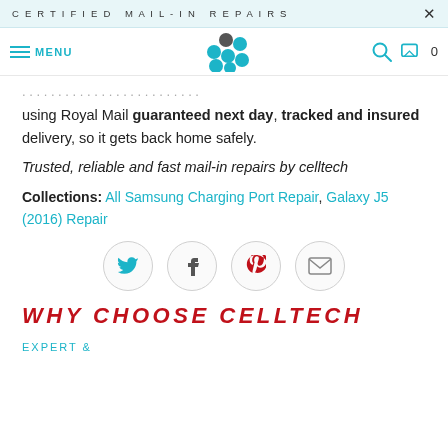CERTIFIED MAIL-IN REPAIRS
using Royal Mail guaranteed next day, tracked and insured delivery, so it gets back home safely.
Trusted, reliable and fast mail-in repairs by celltech
Collections: All Samsung Charging Port Repair, Galaxy J5 (2016) Repair
[Figure (infographic): Social share buttons: Twitter, Facebook, Pinterest, Email]
WHY CHOOSE CELLTECH
EXPERT &